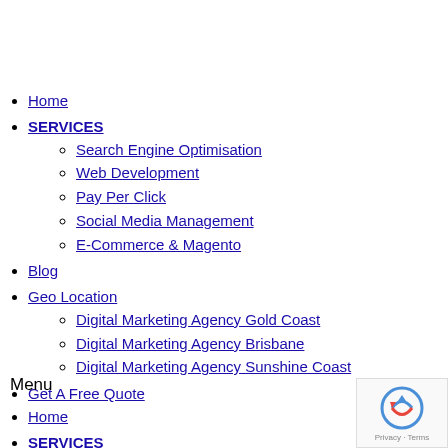Home
SERVICES
Search Engine Optimisation
Web Development
Pay Per Click
Social Media Management
E-Commerce & Magento
Blog
Geo Location
Digital Marketing Agency Gold Coast
Digital Marketing Agency Brisbane
Digital Marketing Agency Sunshine Coast
Get A Free Quote
Menu
Home
SERVICES
Search Engine Optimisation
Web Development